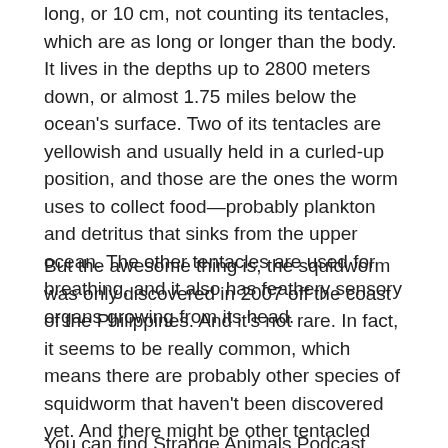long, or 10 cm, not counting its tentacles, which are as long or longer than the body. It lives in the depths up to 2800 meters down, or almost 1.75 miles below the ocean's surface. Two of its tentacles are yellowish and usually held in a curled-up position, and those are the ones the worm uses to collect food—probably plankton and detritus that sinks from the upper ocean. The other tentacles are used for breathing, and it also has feathery sensory organs growing from its head.
But the awesome thing is, the squidworm was only discovered in 2007 off the coast of the Philippines. And it's not rare. In fact, it seems to be really common, which means there are probably other species of squidworm that haven't been discovered yet. And there might be other tentacled things down there too, who knows?
You can find Strange Animals Podcast online at